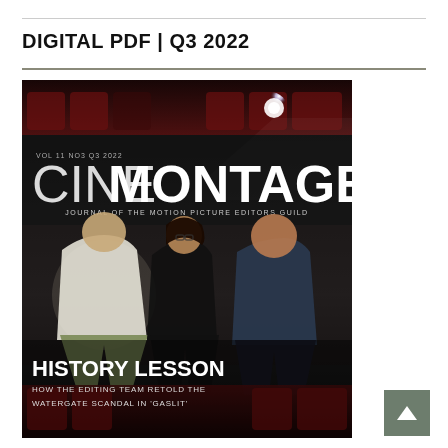DIGITAL PDF | Q3 2022
[Figure (photo): Cover of CineMontage magazine, Vol 11 No3 Q3 2022. Three people seated in red cinema seats against a dark background. Text reads: CINEMONTAGE - Journal of the Motion Picture Editors Guild. HISTORY LESSON - HOW THE EDITING TEAM RETOLD THE WATERGATE SCANDAL IN 'GASLIT']